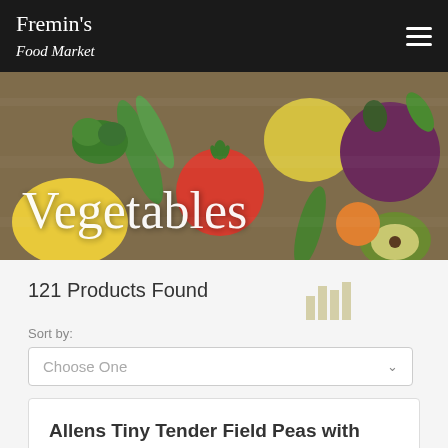[Figure (logo): Fremin's Food Market logo in white script on dark background]
[Figure (photo): Hero banner with assorted vegetables and fruits on wooden surface with text 'Vegetables']
121 Products Found
Sort by:
Choose One
Allens Tiny Tender Field Peas with Snaps